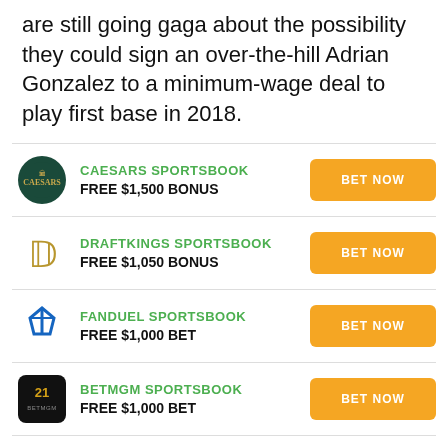are still going gaga about the possibility they could sign an over-the-hill Adrian Gonzalez to a minimum-wage deal to play first base in 2018.
CAESARS SPORTSBOOK — FREE $1,500 BONUS — BET NOW
DRAFTKINGS SPORTSBOOK — FREE $1,050 BONUS — BET NOW
FANDUEL SPORTSBOOK — FREE $1,000 BET — BET NOW
BETMGM SPORTSBOOK — FREE $1,000 BET — BET NOW
BARSTOOL SPORTSBOOK — BET NOW